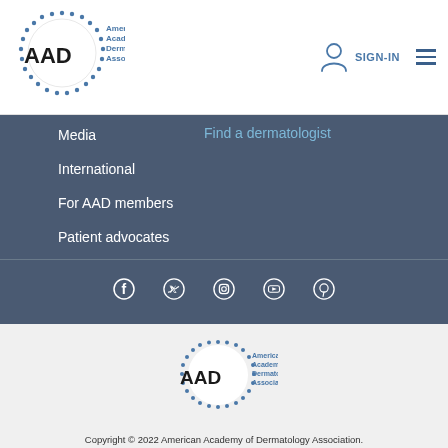[Figure (logo): AAD American Academy of Dermatology Association logo in header]
SIGN-IN
Media
Find a dermatologist
International
For AAD members
Patient advocates
[Figure (illustration): Social media icons: Facebook, Twitter, Instagram, YouTube, Pinterest]
[Figure (logo): AAD American Academy of Dermatology Association logo in footer]
Copyright © 2022 American Academy of Dermatology Association. All rights reserved. Reproduction or republication strictly prohibited without prior written permission.